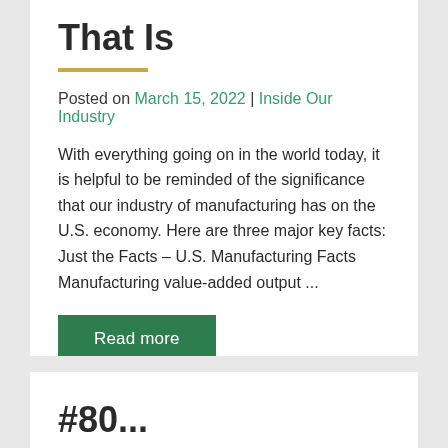That Is
Posted on March 15, 2022 | Inside Our Industry
With everything going on in the world today, it is helpful to be reminded of the significance that our industry of manufacturing has on the U.S. economy. Here are three major key facts: Just the Facts – U.S. Manufacturing Facts Manufacturing value-added output ...
Read more
#80...